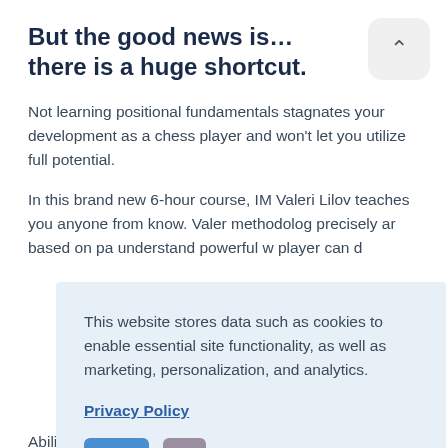But the good news is... there is a huge shortcut.
Not learning positional fundamentals stagnates your development as a chess player and won't let you utilize full potential.
In this brand new 6-hour course, IM Valeri Lilov teaches you anyone from know. Valer methodolog precisely ar based on pa understand powerful w player can d
This website stores data such as cookies to enable essential site functionality, as well as marketing, personalization, and analytics.
Privacy Policy
ACCEPT
DENY
Ability to convert endgames is a practical skill, not